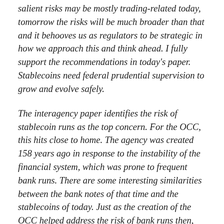salient risks may be mostly trading-related today, tomorrow the risks will be much broader than that and it behooves us as regulators to be strategic in how we approach this and think ahead. I fully support the recommendations in today's paper. Stablecoins need federal prudential supervision to grow and evolve safely.
The interagency paper identifies the risk of stablecoin runs as the top concern. For the OCC, this hits close to home. The agency was created 158 years ago in response to the instability of the financial system, which was prone to frequent bank runs. There are some interesting similarities between the bank notes of that time and the stablecoins of today. Just as the creation of the OCC helped address the risk of bank runs then, we stand ready to work with our interagency partners to ensure the safe and sound integration of stablecoins into the financial system and mitigate the risk of stablecoin runs today and into the